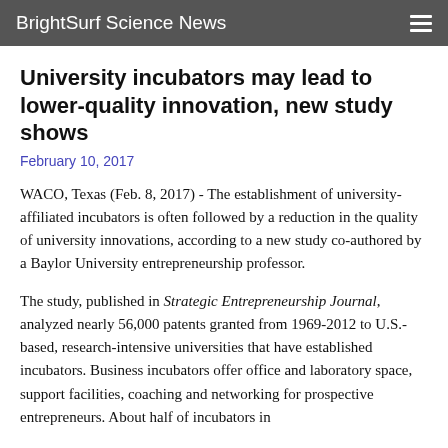BrightSurf Science News
University incubators may lead to lower-quality innovation, new study shows
February 10, 2017
WACO, Texas (Feb. 8, 2017) - The establishment of university-affiliated incubators is often followed by a reduction in the quality of university innovations, according to a new study co-authored by a Baylor University entrepreneurship professor.
The study, published in Strategic Entrepreneurship Journal, analyzed nearly 56,000 patents granted from 1969-2012 to U.S.-based, research-intensive universities that have established incubators. Business incubators offer office and laboratory space, support facilities, coaching and networking for prospective entrepreneurs. About half of incubators in